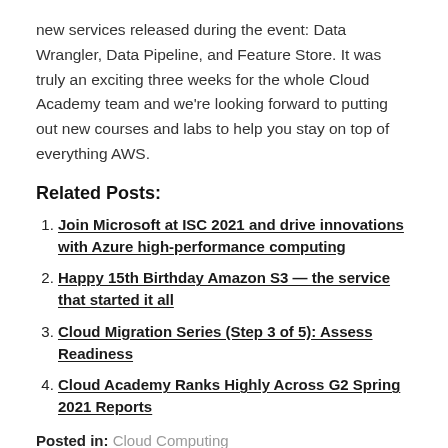new services released during the event: Data Wrangler, Data Pipeline, and Feature Store. It was truly an exciting three weeks for the whole Cloud Academy team and we're looking forward to putting out new courses and labs to help you stay on top of everything AWS.
Related Posts:
Join Microsoft at ISC 2021 and drive innovations with Azure high-performance computing
Happy 15th Birthday Amazon S3 — the service that started it all
Cloud Migration Series (Step 3 of 5): Assess Readiness
Cloud Academy Ranks Highly Across G2 Spring 2021 Reports
Posted in: Cloud Computing